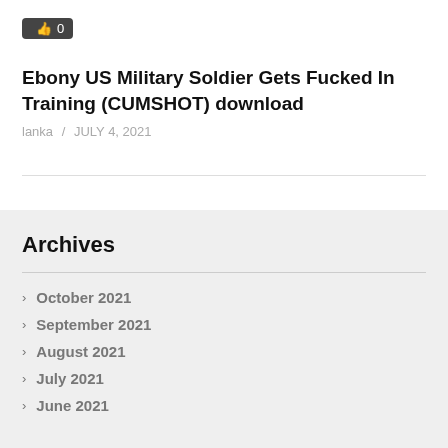[Figure (other): Thumbs up like button icon showing count 0]
Ebony US Military Soldier Gets Fucked In Training (CUMSHOT) download
lanka / JULY 4, 2021
Archives
October 2021
September 2021
August 2021
July 2021
June 2021